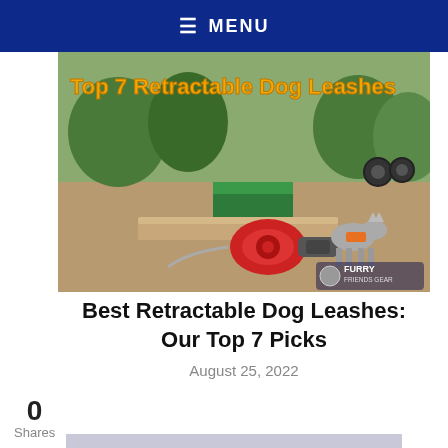≡ MENU
[Figure (photo): Photo of a red retractable dog leash on a green park bench with a husky dog in the background. Text overlay reads 'Top 7 Retractable Dog Leashes' in orange. Logo 'FURRY FRIENDS GEAR' in bottom right corner.]
Best Retractable Dog Leashes: Our Top 7 Picks
August 25, 2022
0
Shares
[Figure (photo): Banner image with text 'Keep Those Paws Clean!' in bold dark blue on a light purple/grey background.]